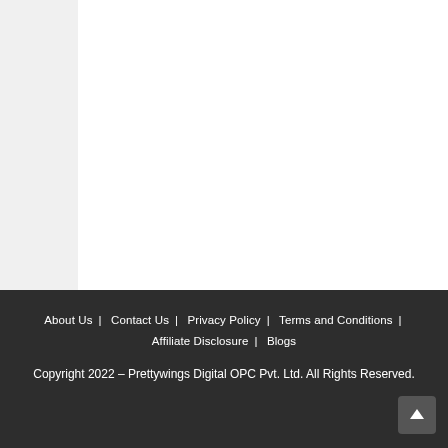[Figure (other): White rectangular content area on a light gray background, no visible content inside.]
About Us | Contact Us | Privacy Policy | Terms and Conditions | Affiliate Disclosure | Blogs
Copyright 2022 - Prettywings Digital OPC Pvt. Ltd. All Rights Reserved.